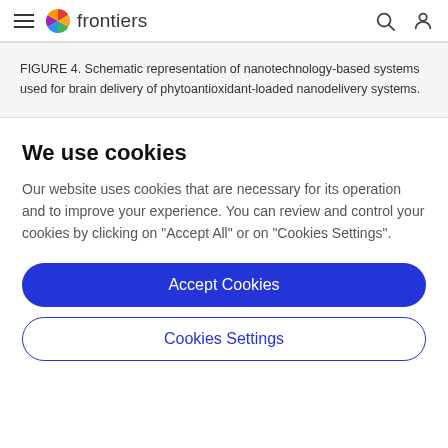frontiers
FIGURE 4. Schematic representation of nanotechnology-based systems used for brain delivery of phytoantioxidant-loaded nanodelivery systems.
We use cookies
Our website uses cookies that are necessary for its operation and to improve your experience. You can review and control your cookies by clicking on "Accept All" or on "Cookies Settings".
Accept Cookies
Cookies Settings